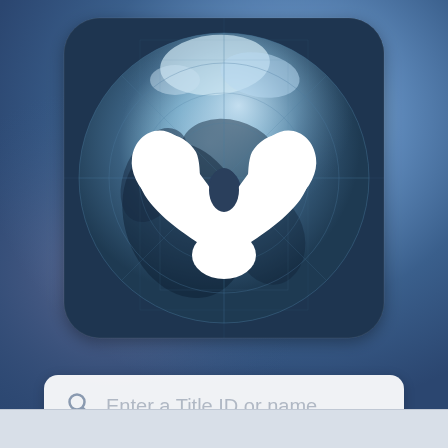[Figure (screenshot): Destiny 2 app icon on a blue cosmic background showing the Bungie/Destiny logo (a stylized three-pronged Y shape in white over a dark blue planet/globe with circular grid lines) in a rounded-square tile, and a search bar below with placeholder text 'Enter a Title ID or name...']
Enter a Title ID or name...